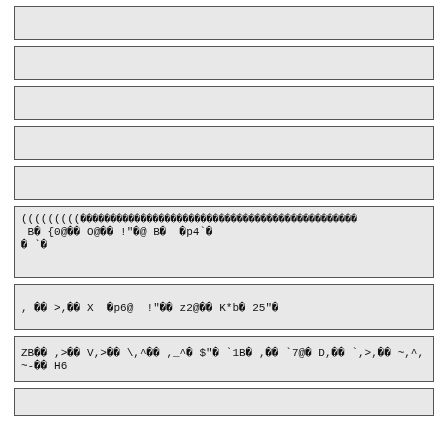(((((((((                                               
 B  {0@   O@   !"\u0000@ B    p4` 
  ` 
,    >,   X  p6@  !"\u0000  z2@   K*b  25" 
ZB   ,>   V,>   \,^   ,_^  $"  `1B  ,   `7@  D,   `,>,   ~,^,~-   H6